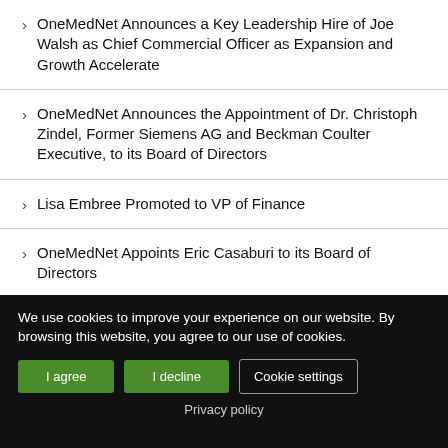OneMedNet Announces a Key Leadership Hire of Joe Walsh as Chief Commercial Officer as Expansion and Growth Accelerate
OneMedNet Announces the Appointment of Dr. Christoph Zindel, Former Siemens AG and Beckman Coulter Executive, to its Board of Directors
Lisa Embree Promoted to VP of Finance
OneMedNet Appoints Eric Casaburi to its Board of Directors
We use cookies to improve your experience on our website. By browsing this website, you agree to our use of cookies.
I agree
I decline
Cookie settings
Privacy policy